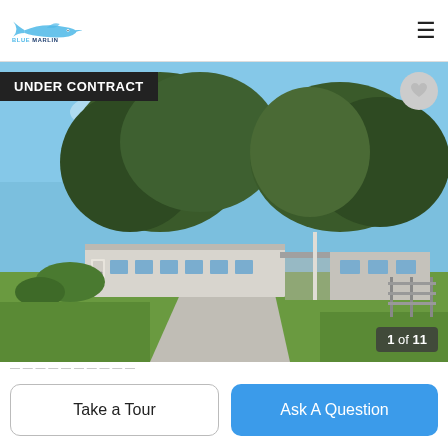Blue Marlin Real Estate
[Figure (photo): Exterior photo of a single-story residential home with carport, concrete driveway, green lawn, and large trees under blue sky. Badge reading UNDER CONTRACT overlaid at top-left. Heart icon at top-right. Counter showing 1 of 11 at bottom-right.]
1 of 11
UNDER CONTRACT
Take a Tour
Ask A Question